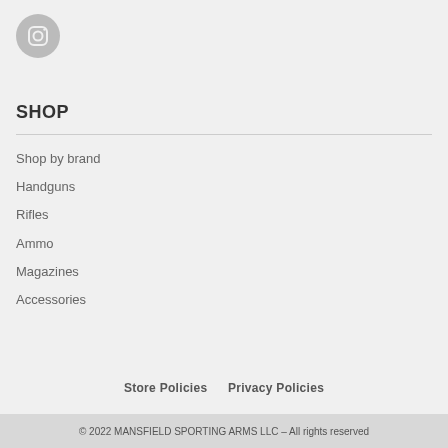[Figure (logo): Instagram icon button — circular gray button with Instagram camera icon outline]
SHOP
Shop by brand
Handguns
Rifles
Ammo
Magazines
Accessories
Store Policies    Privacy Policies
© 2022 MANSFIELD SPORTING ARMS LLC – All rights reserved